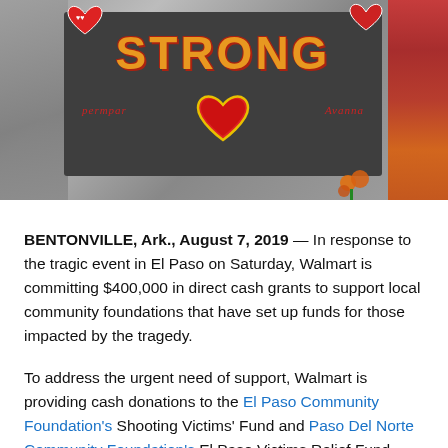[Figure (photo): A memorial sign reading 'STRONG' in orange letters on a dark gray board, with red glitter hearts and cursive lettering. The sign is part of a memorial display with orange flowers at the bottom and red elements on the right edge.]
BENTONVILLE, Ark., August 7, 2019 — In response to the tragic event in El Paso on Saturday, Walmart is committing $400,000 in direct cash grants to support local community foundations that have set up funds for those impacted by the tragedy.
To address the urgent need of support, Walmart is providing cash donations to the El Paso Community Foundation's Shooting Victims' Fund and Paso Del Norte Community Foundation's El Paso Victims Relief Fund